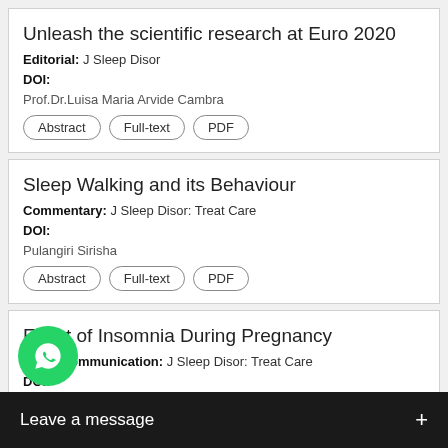Unleash the scientific research at Euro 2020
Editorial: J Sleep Disor
DOI:
Prof.Dr.Luisa Maria Arvide Cambra
Abstract | Full-text | PDF
Sleep Walking and its Behaviour
Commentary: J Sleep Disor: Treat Care
DOI:
Pulangiri Sirisha
Abstract | Full-text | PDF
Effect of Insomnia During Pregnancy
Short Communication: J Sleep Disor: Treat Care
DOI:
a Vaishnavi
Abstract | Full-text | PDF
Tho